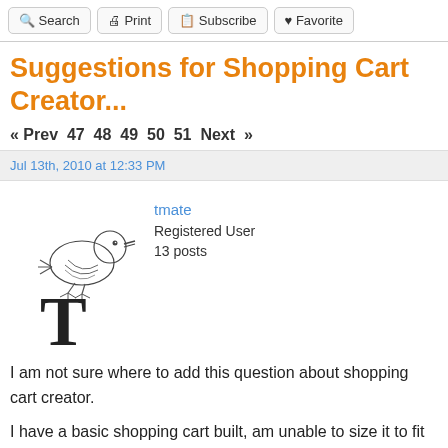Search | Print | Subscribe | Favorite
Suggestions for Shopping Cart Creator...
« Prev 47 48 49 50 51 Next »
Jul 13th, 2010 at 12:33 PM
[Figure (illustration): Avatar of user tmate: a bird perched on a large letter T]
tmate
Registered User
13 posts
I am not sure where to add this question about shopping cart creator.
I have a basic shopping cart built, am unable to size it to fit into my website page properly.